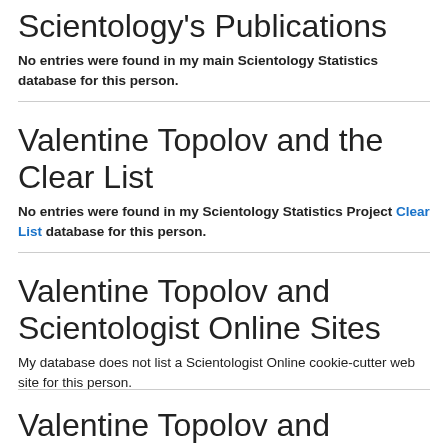Scientology's Publications
No entries were found in my main Scientology Statistics database for this person.
Valentine Topolov and the Clear List
No entries were found in my Scientology Statistics Project Clear List database for this person.
Valentine Topolov and Scientologist Online Sites
My database does not list a Scientologist Online cookie-cutter web site for this person.
Valentine Topolov and